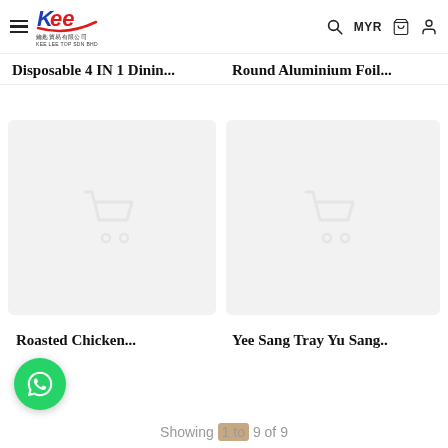Kee Lee Top Sdn Bhd — MYR navigation bar
Disposable 4 IN 1 Dinin...
Round Aluminium Foil...
[Figure (illustration): Product placeholder card with grey shopping cart icon for Roasted Chicken]
[Figure (illustration): Product placeholder card with grey shopping cart icon for Yee Sang Tray Yu Sang]
Roasted Chicken...
Yee Sang Tray Yu Sang..
Showing 1 to 9 of 9